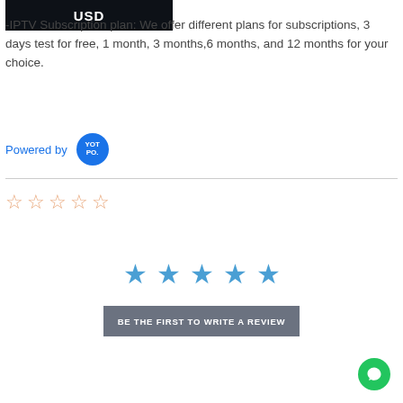[Figure (logo): USD dark button/badge]
-IPTV Subscription plan: We offer different plans for subscriptions, 3 days test for free, 1 month, 3 months,6 months, and 12 months for your choice.
[Figure (logo): Powered by Yotpo logo badge]
[Figure (other): Five empty orange star outlines rating widget]
[Figure (other): Five filled blue stars]
[Figure (other): BE THE FIRST TO WRITE A REVIEW button]
[Figure (other): Green chat bubble icon bottom right]